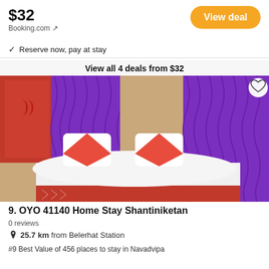$32
Booking.com ↗
View deal
✓ Reserve now, pay at stay
View all 4 deals from $32
[Figure (photo): Hotel room with purple curtains, white bed with red pillows, and red accent blanket at the foot of the bed]
9. OYO 41140 Home Stay Shantiniketan
0 reviews
25.7 km from Belerhat Station
#9 Best Value of 456 places to stay in Navadvipa